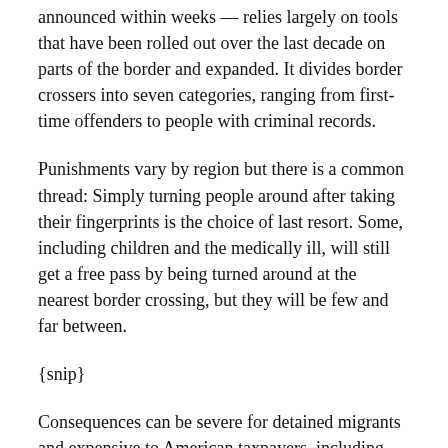announced within weeks — relies largely on tools that have been rolled out over the last decade on parts of the border and expanded. It divides border crossers into seven categories, ranging from first-time offenders to people with criminal records.
Punishments vary by region but there is a common thread: Simply turning people around after taking their fingerprints is the choice of last resort. Some, including children and the medically ill, will still get a free pass by being turned around at the nearest border crossing, but they will be few and far between.
{snip}
Consequences can be severe for detained migrants and expensive to American taxpayers, including felony prosecution or being taken to an unfamiliar border city